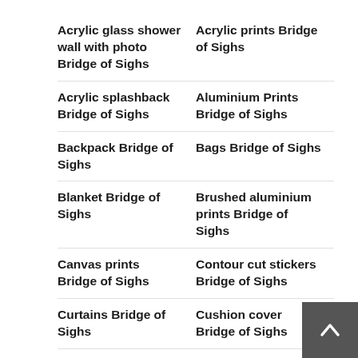Acrylic glass shower wall with photo Bridge of Sighs
Acrylic prints Bridge of Sighs
Acrylic splashback Bridge of Sighs
Aluminium Prints Bridge of Sighs
Backpack Bridge of Sighs
Bags Bridge of Sighs
Blanket Bridge of Sighs
Brushed aluminium prints Bridge of Sighs
Canvas prints Bridge of Sighs
Contour cut stickers Bridge of Sighs
Curtains Bridge of Sighs
Cushion cover Bridge of Sighs
Door stickers Bridge of Sighs
Fabric by meter Bridge of Sighs
Framed poster Bridge of Sighs
Furniture stickers Bridge of Sighs
Garden poster Bridge of Sighs
Outdoor cushions Bridge of Sighs
Outdoor pillows Bridge of Sighs (partial)
Printing on glass Bridge of Sighs (partial)